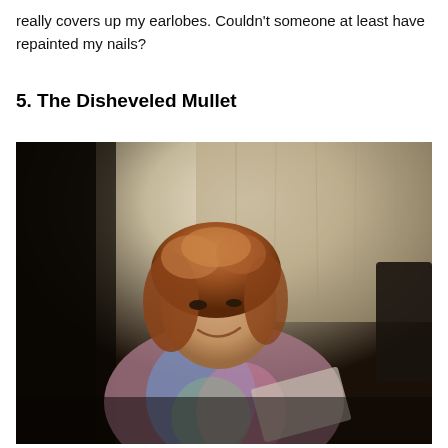really covers up my earlobes. Couldn't someone at least have repainted my nails?
5. The Disheveled Mullet
[Figure (photo): A vintage photograph of a young person with a disheveled mullet hairstyle, sitting and looking down at something they are holding, wearing a colorful sleeveless top. Dark background with wood-paneled wall visible.]